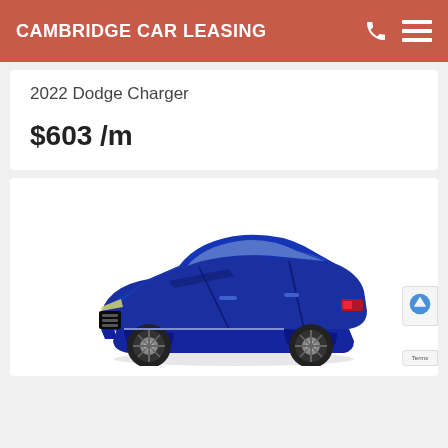CAMBRIDGE CAR LEASING
2022 Dodge Charger
$603 /m
[Figure (photo): Blue 2022 Dodge Charger muscle car, side-front view, shown on white background]